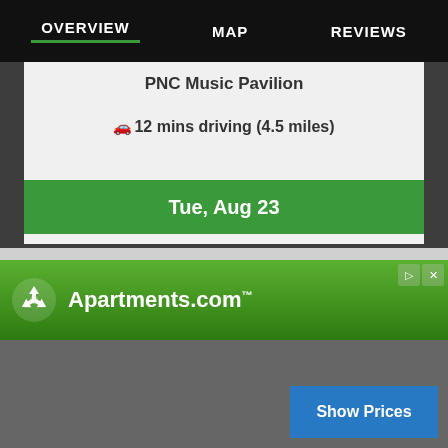OVERVIEW   MAP   REVIEWS
PNC Music Pavilion
🚗12 mins driving (4.5 miles)
Tue, Aug 23
Full Events Listing...
[Figure (logo): Apartments.com logo with green gradient background and recycling-symbol-style icon]
Show Prices